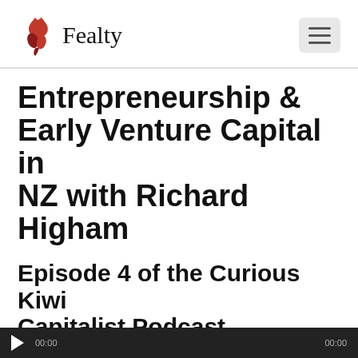Fealty
Entrepreneurship & Early Venture Capital in NZ with Richard Higham
Episode 4 of the Curious Kiwi Capitalist Podcast
27th August 2019
[Figure (other): Audio player bar with play button and timestamps 00:00 on both sides]